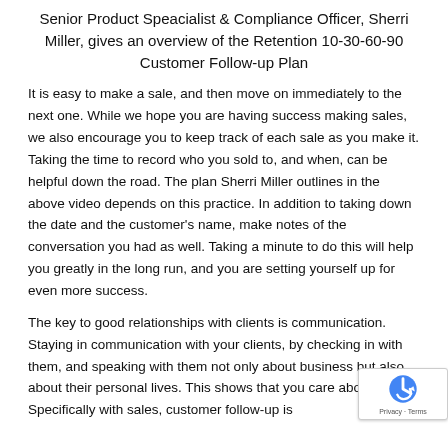Senior Product Speacialist & Compliance Officer, Sherri Miller, gives an overview of the Retention 10-30-60-90 Customer Follow-up Plan
It is easy to make a sale, and then move on immediately to the next one. While we hope you are having success making sales, we also encourage you to keep track of each sale as you make it. Taking the time to record who you sold to, and when, can be helpful down the road. The plan Sherri Miller outlines in the above video depends on this practice. In addition to taking down the date and the customer's name, make notes of the conversation you had as well. Taking a minute to do this will help you greatly in the long run, and you are setting yourself up for even more success.
The key to good relationships with clients is communication. Staying in communication with your clients, by checking in with them, and speaking with them not only about business but also about their personal lives. This shows that you care about them. Specifically with sales, customer follow-up is